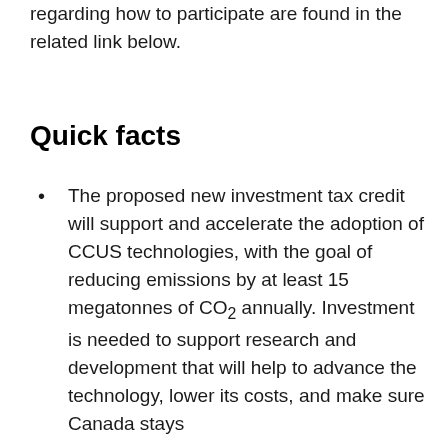regarding how to participate are found in the related link below.
Quick facts
The proposed new investment tax credit will support and accelerate the adoption of CCUS technologies, with the goal of reducing emissions by at least 15 megatonnes of CO₂ annually. Investment is needed to support research and development that will help to advance the technology, lower its costs, and make sure Canada stays…